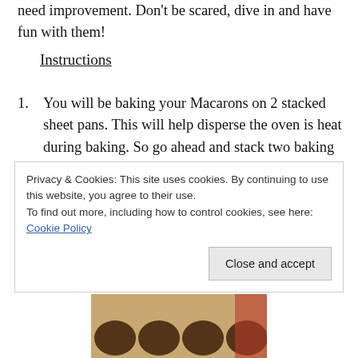need improvement. Don't be scared, dive in and have fun with them!
Instructions
You will be baking your Macarons on 2 stacked sheet pans. This will help disperse the oven is heat during baking. So go ahead and stack two baking sheets and line with parchment or a Selpat. As you can see from the picture below, I place sheets of paper with the Macaron size I want underneath so that I am sure to pipe out the same size so they cook evenly.
Privacy & Cookies: This site uses cookies. By continuing to use this website, you agree to their use.
To find out more, including how to control cookies, see here: Cookie Policy
[Figure (photo): Photo of macarons on a baking tray with a woven/textured background]